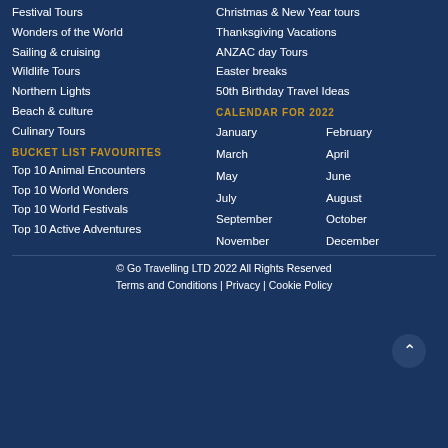Festival Tours
Wonders of the World
Sailing & cruising
Wildlife Tours
Northern Lights
Beach & culture
Culinary Tours
BUCKET LIST FAVOURITES
Top 10 Animal Encounters
Top 10 World Wonders
Top 10 World Festivals
Top 10 Active Adventures
Christmas & New Year tours
Thanksgiving Vacations
ANZAC day Tours
Easter breaks
50th Birthday Travel Ideas
CALENDAR FOR 2022
January
February
March
April
May
June
July
August
September
October
November
December
© Go Travelling LTD 2022 All Rights Reserved
Terms and Conditions | Privacy | Cookie Policy